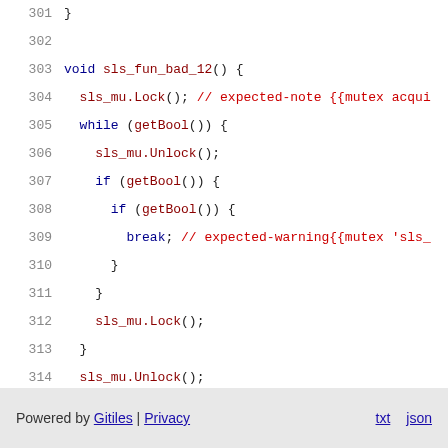301  }
302
303  void sls_fun_bad_12() {
304    sls_mu.Lock(); // expected-note {{mutex acqui
305    while (getBool()) {
306      sls_mu.Unlock();
307      if (getBool()) {
308        if (getBool()) {
309          break; // expected-warning{{mutex 'sls_
310        }
311      }
312      sls_mu.Lock();
313    }
314    sls_mu.Unlock();
315  }
316
317  #endif
Powered by Gitiles | Privacy   txt  json